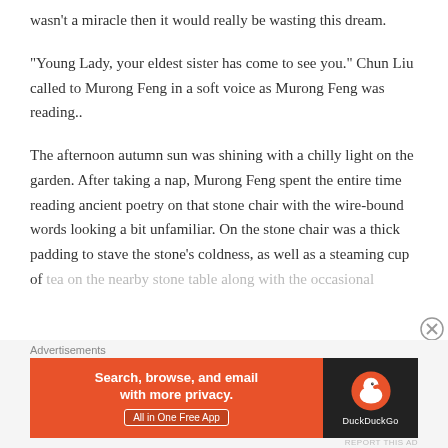wasn't a miracle then it would really be wasting this dream.
“Young Lady, your eldest sister has come to see you.” Chun Liu called to Murong Feng in a soft voice as Murong Feng was reading..
The afternoon autumn sun was shining with a chilly light on the garden. After taking a nap, Murong Feng spent the entire time reading ancient poetry on that stone chair with the wire-bound words looking a bit unfamiliar. On the stone chair was a thick padding to stave the stone’s coldness, as well as a steaming cup of tea on the nearby stone table along with the occasional
Advertisements
[Figure (other): DuckDuckGo advertisement banner: Search, browse, and email with more privacy. All in One Free App.]